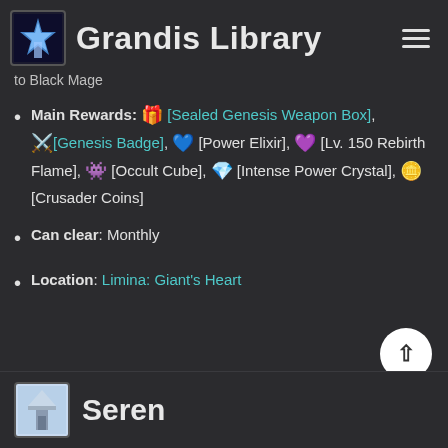Grandis Library
to Black Mage
Main Rewards: [Sealed Genesis Weapon Box], [Genesis Badge], [Power Elixir], [Lv. 150 Rebirth Flame], [Occult Cube], [Intense Power Crystal], [Crusader Coins]
Can clear: Monthly
Location: Limina: Giant's Heart
Seren